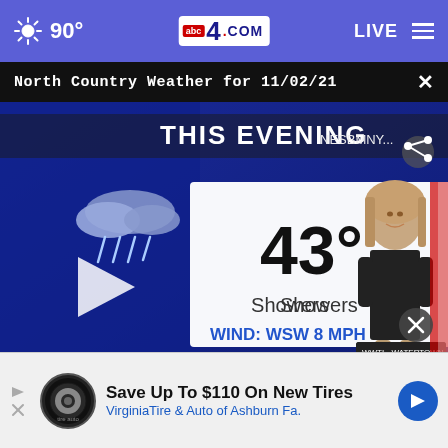90° | abc4.COM | LIVE
North Country Weather for 11/02/21
[Figure (screenshot): Weather broadcast screenshot showing 'THIS EVENING' with 43° Showers, WIND: WSW 8 MPH, female meteorologist presenting, abc50 WWTI Watertown logo, play button overlay, share icon]
Save Up To $110 On New Tires
VirginiaTire & Auto of Ashburn Fa.